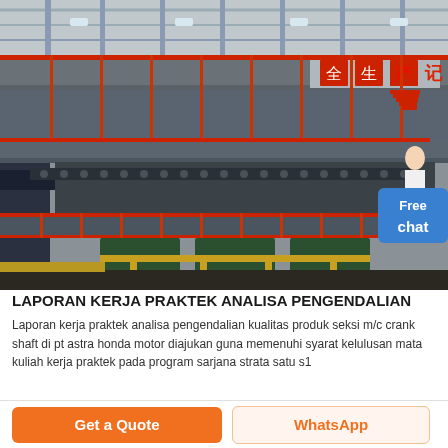[Figure (photo): Industrial factory interior showing multi-level machinery platforms with red railings, yellow pipes, green machines, and Chinese text safety banners on a large manufacturing floor.]
LAPORAN KERJA PRAKTEK ANALISA PENGENDALIAN
Laporan kerja praktek analisa pengendalian kualitas produk seksi m/c crank shaft di pt astra honda motor diajukan guna memenuhi syarat kelulusan mata kuliah kerja praktek pada program sarjana strata satu s1